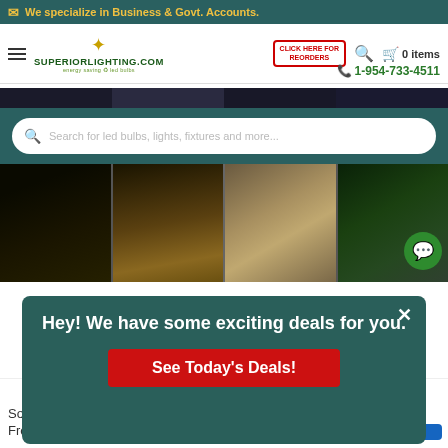We specialize in Business & Govt. Accounts.
[Figure (screenshot): SuperiorLighting.com navigation bar with hamburger menu, logo, CLICK HERE FOR REORDERS button, search icon, cart (0 items), and phone number 1-954-733-4511]
[Figure (screenshot): Search bar with placeholder text: Search for led bulbs, lights, fixtures and more...]
[Figure (photo): Four outdoor landscape lighting photos: dark ground, illuminated pathway, door/gate area, grass with stone border]
[Figure (screenshot): Popup modal with dark teal background saying: Hey! We have some exciting deals for you. with a red See Today's Deals! button and a close X button]
1
Solar LED Wall Accent Light With Front And